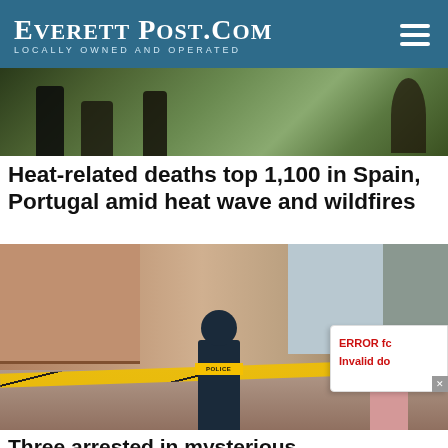EverettPost.com — Locally Owned and Operated
[Figure (photo): Outdoor scene with people standing, trees in background, dark/shadowed figures visible.]
Heat-related deaths top 1,100 in Spain, Portugal amid heat wave and wildfires
[Figure (photo): Police officer in navy uniform with 'POLICE' text on back stands at a crime scene with yellow police tape. A man in a pink shirt stands to the right. Township houses visible in background.]
Three arrested in mysterious deaths of 2 teenagers at South African nightclub, police
LATEST LOCAL NEWS